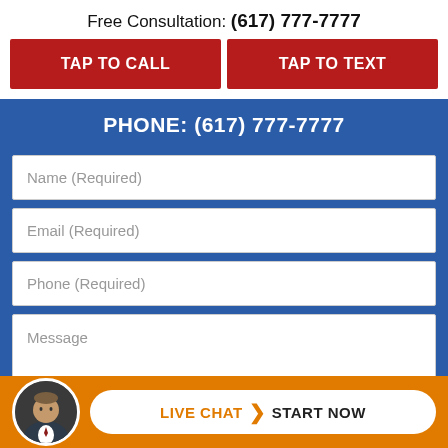Free Consultation: (617) 777-7777
TAP TO CALL
TAP TO TEXT
PHONE: (617) 777-7777
Name (Required)
Email (Required)
Phone (Required)
Message
CONTACT US NOW
LIVE CHAT  START NOW